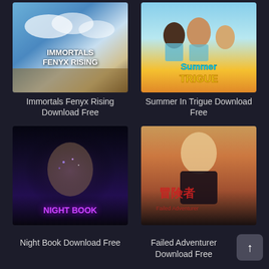[Figure (screenshot): Game cover art for Immortals Fenyx Rising showing a fantasy adventure scene with blue skies and mythological creatures]
Immortals Fenyx Rising Download Free
[Figure (screenshot): Game cover art for Summer In Trigue showing anime-style female characters in summer attire with colorful text]
Summer In Trigue Download Free
[Figure (screenshot): Game cover art for Night Book showing a dark close-up of a woman's face with glowing elements and purple Night Book text]
Night Book Download Free
[Figure (screenshot): Game cover art for Failed Adventurer showing an anime-style illustration with Japanese text characters]
Failed Adventurer Download Free